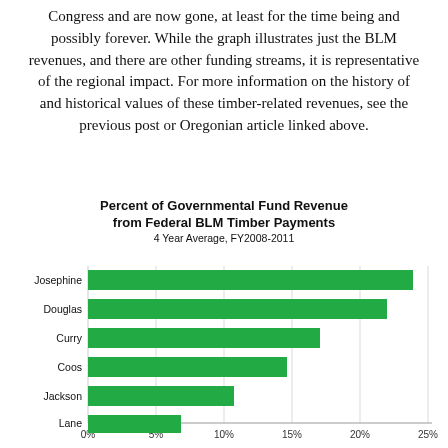Congress and are now gone, at least for the time being and possibly forever. While the graph illustrates just the BLM revenues, and there are other funding streams, it is representative of the regional impact. For more information on the history of and historical values of these timber-related revenues, see the previous post or Oregonian article linked above.
[Figure (bar-chart): Percent of Governmental Fund Revenue from Federal BLM Timber Payments]
Oregon Secretary of State